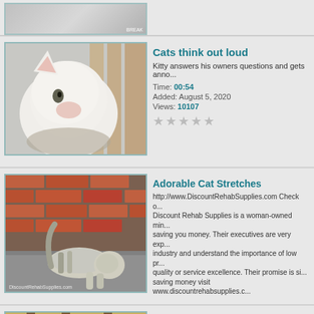[Figure (screenshot): Top partial video thumbnail with gray background and BREAK watermark]
[Figure (photo): White cat looking up, close-up photo used as video thumbnail]
Cats think out loud
Kitty answers his owners questions and gets anno...
Time: 00:54
Added: August 5, 2020
Views: 10107
[Figure (photo): Cat stretching outdoors near brick wall, with DiscountRehabSupplies.com watermark]
Adorable Cat Stretches
http://www.DiscountRehabSupplies.com Check o... Discount Rehab Supplies is a woman-owned min... saving you money. Their executives are very exp... industry and understand the importance of low pr... quality or service excellence. Their promise is si... saving money visit www.discountrehabsupplies.c...
Time: 01:06
Added: August 4, 2020
Views: 4032
[Figure (photo): Partial cat video thumbnail with yellow/brown background]
Cat Falls Asleep
Cat Falls Asleep